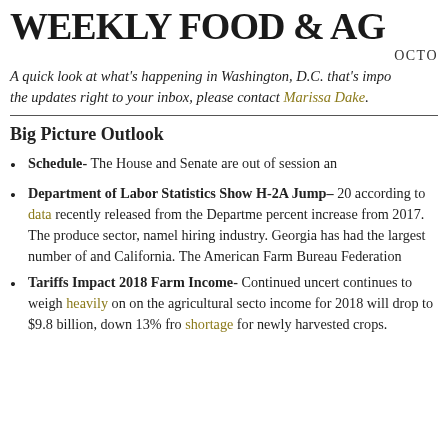WEEKLY FOOD & AG...
OCTO...
A quick look at what's happening in Washington, D.C. that's impo... the updates right to your inbox, please contact Marissa Dake.
Big Picture Outlook
Schedule- The House and Senate are out of session an...
Department of Labor Statistics Show H-2A Jump– 20... according to data recently released from the Departme... percent increase from 2017. The produce sector, namel... hiring industry. Georgia has had the largest number of... and California. The American Farm Bureau Federation...
Tariffs Impact 2018 Farm Income- Continued uncert... continues to weigh heavily on on the agricultural secto... income for 2018 will drop to $9.8 billion, down 13% fro... shortage for newly harvested crops.